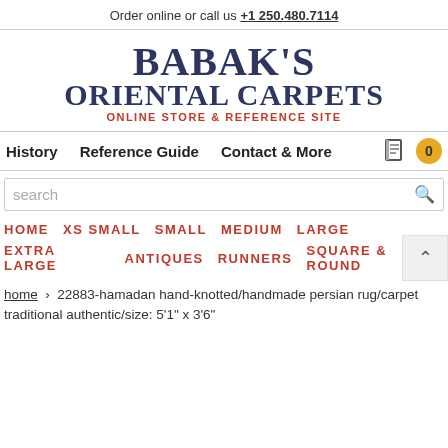Order online or call us +1 250.480.7114
[Figure (logo): Babak's Oriental Carpets logo with text: BABAK'S ORIENTAL CARPETS ONLINE STORE & REFERENCE SITE]
History   Reference Guide   Contact & More
search
HOME   XS SMALL   SMALL   MEDIUM   LARGE   EXTRA LARGE   ANTIQUES   RUNNERS   SQUARE & ROUND
home › 22883-hamadan hand-knotted/handmade persian rug/carpet traditional authentic/size: 5'1" x 3'6"